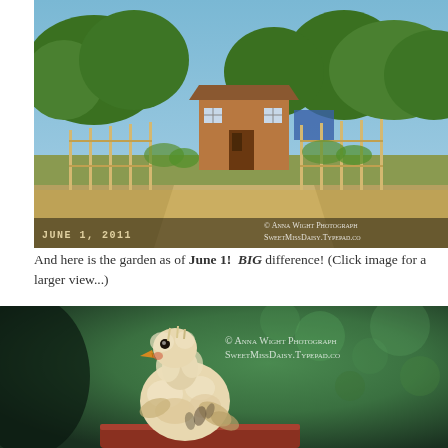[Figure (photo): Panoramic photo of a garden with a wooden shed/chicken coop, fencing, raised beds and trees in the background. Stamped with 'June 1, 2011' in the lower left and '© Anna Wight Photography SweetMissDaisy.Typepad.co' watermark in lower right.]
And here is the garden as of June 1! BIG difference! (Click image for a larger view...)
[Figure (photo): Close-up photo of a young fluffy chicken (chick/juvenile) with sparse feathers, orange beak, perched on what appears to be a reddish surface against a blurred green background. Watermark reads '© Anna Wight Photography SweetMissDaisy.Typepad.co']